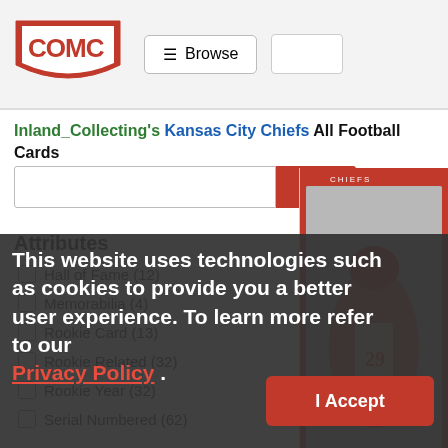COMC | Browse
Inland_Collecting's Kansas City Chiefs All Football Cards
Filter
Attributes
Hall of Fame (12)
Memorabilia (4)
Rookie Card (13)
Rookie Related (32)
Rookie Year (32)
Serial Numbered (62)
[Figure (photo): Trading card image showing Eric Berry #29 Kansas City Chiefs player running, red and white uniform, 2018 Panini Plates card]
Players
Alex Smith QB (20)
Jeremy Maclin (11)
Chris Conley (9)
2018 Panini Plates &
Eric Berry #/10
$23.24
This website uses technologies such as cookies to provide you a better user experience. To learn more refer to our Privacy Policy .
I Accept